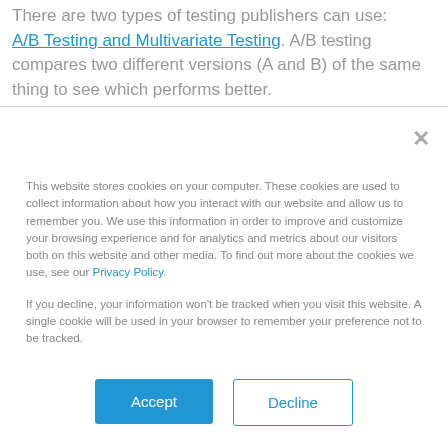There are two types of testing publishers can use: A/B Testing and Multivariate Testing. A/B testing compares two different versions (A and B) of the same thing to see which performs better.
This website stores cookies on your computer. These cookies are used to collect information about how you interact with our website and allow us to remember you. We use this information in order to improve and customize your browsing experience and for analytics and metrics about our visitors both on this website and other media. To find out more about the cookies we use, see our Privacy Policy.
If you decline, your information won't be tracked when you visit this website. A single cookie will be used in your browser to remember your preference not to be tracked.
Accept
Decline